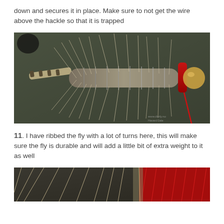down and secures it in place. Make sure to not get the wire above the hackle so that it is trapped
[Figure (photo): Close-up macro photograph of a fly fishing lure showing ribbed wire wrapping around dubbed body with hackle feathers radiating outward, a barred feather tail on the left, and red thread with a bead visible on the right end, against a dark olive-green background.]
11. I have ribbed the fly with a lot of turns here, this will make sure the fly is durable and will add a little bit of extra weight to it as well
[Figure (photo): Close-up macro photograph showing the lower portion of a fly fishing lure with tan/beige hackle feathers and bright red dubbing or feather material on the right side, against a dark background.]